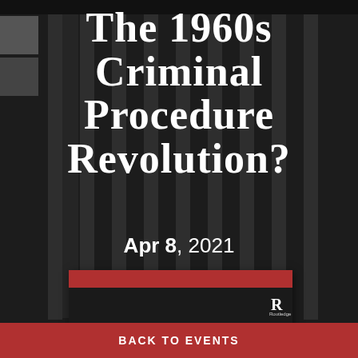The 1960s Criminal Procedure Revolution?
Apr 8, 2021
[Figure (illustration): Book cover: 'The Supreme Court's Role in Mass Incarceration' by William T. Pizzi, published by Routledge. Dark background with red header bar and three white squares at bottom.]
BACK TO EVENTS